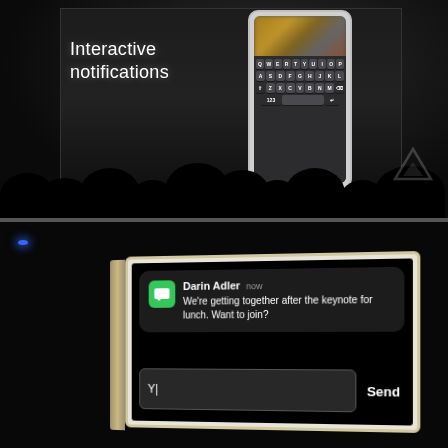[Figure (photo): Top half: Dark conference stage photo showing a projection screen with text 'Interactive notifications' and an iPhone mockup displaying a keyboard (QWERTYUIOP / ASDFGHJKL / ZXCVBNM rows). Audience silhouettes visible at bottom. Verge logo watermark at bottom right.]
[Figure (photo): Bottom half: Dark conference room photo with blue ceiling lights. A tablet/screen in foreground shows an iOS interactive notification from 'Darin Adler' saying 'We're getting together after the keynote for lunch. Want to join?' with a reply field showing 'Y|' and a 'Send' button.]